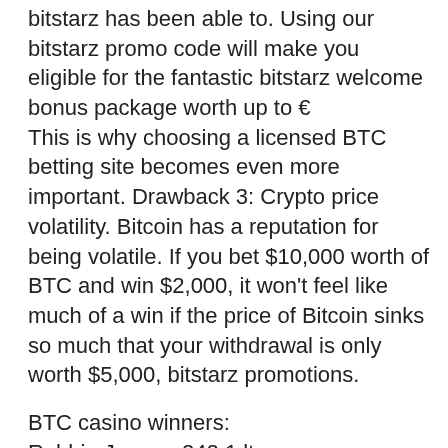bitstarz has been able to. Using our bitstarz promo code will make you eligible for the fantastic bitstarz welcome bonus package worth up to €
This is why choosing a licensed BTC betting site becomes even more important. Drawback 3: Crypto price volatility. Bitcoin has a reputation for being volatile. If you bet $10,000 worth of BTC and win $2,000, it won't feel like much of a win if the price of Bitcoin sinks so much that your withdrawal is only worth $5,000, bitstarz promotions.
BTC casino winners:
Robbie Jones - 242.1 ltc
Nacho Libre - 695.4 btc
Africa Gold - 68.9 dog
Jewel Sea - 429.1 usdt
The Master Cat - 252.7 usdt
Babushkas - 263.9 usdt
Diamond Gate - 853.1 ltc